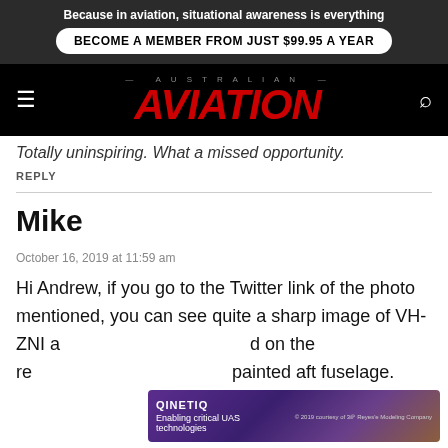Because in aviation, situational awareness is everything
BECOME A MEMBER FROM JUST $99.95 A YEAR
[Figure (logo): Australian Aviation magazine logo with red italic AVIATION text on black background, hamburger menu and search icon]
Totally uninspiring. What a missed opportunity.
REPLY
Mike
October 16, 2019 at 11:59 am
Hi Andrew, if you go to the Twitter link of the photo mentioned, you can see quite a sharp image of VH-ZNI and on the red painted aft fuselage.
[Figure (other): QinetiQ advertisement banner: Enabling critical UAS technologies, purple/gradient background with aircraft imagery]